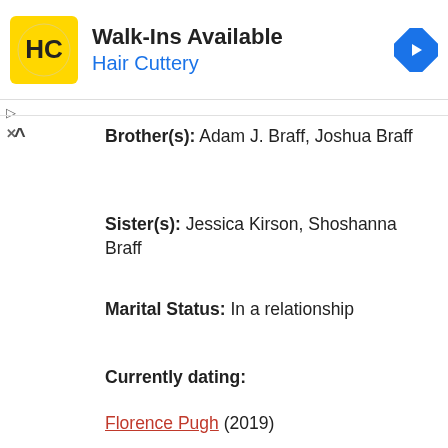[Figure (other): Hair Cuttery advertisement banner with yellow logo, 'Walk-Ins Available' headline, 'Hair Cuttery' subtitle in blue, and a blue navigation/turn icon on the right.]
Brother(s): Adam J. Braff, Joshua Braff
Sister(s): Jessica Kirson, Shoshanna Braff
Marital Status: In a relationship
Currently dating:
Florence Pugh (2019)
Children: None
Dating History: